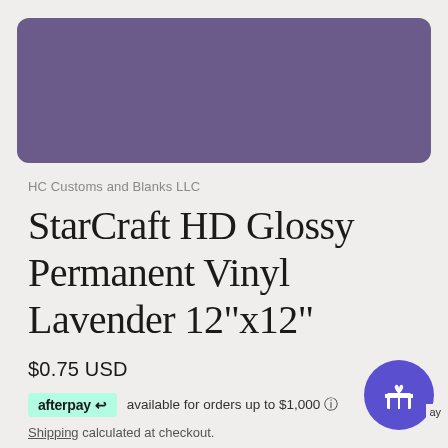[Figure (photo): Purple/lavender colored rectangle representing product swatch image of vinyl material]
HC Customs and Blanks LLC
StarCraft HD Glossy Permanent Vinyl Lavender 12"x12"
$0.75 USD
afterpay available for orders up to $1,000 ⓘ
Shipping calculated at checkout.
Pay in 4 interest-free installments for orders over $50 with afterpay
Learn more